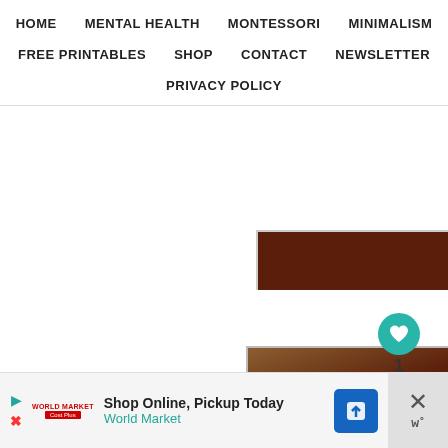HOME   MENTAL HEALTH   MONTESSORI   MINIMALISM   FREE PRINTABLES   SHOP   CONTACT   NEWSLETTER   PRIVACY POLICY
[Figure (photo): Partial brown/wooden photo strip at top right]
Option:
1.  Place beads on the correct first letter of the wo
Source: I found these cards at 3 Dinosaurs as part
[Figure (photo): Brown framed card photo at bottom right with share/heart buttons overlay]
Shop Online, Pickup Today
World Market